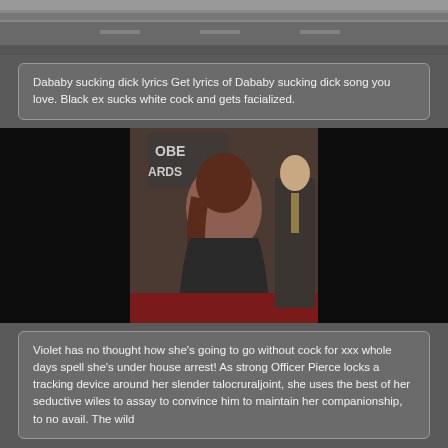[Figure (photo): Top banner image showing a road/street scene, cropped, dark tones]
Dababy sucking dick lyrics Get lyrics of Dababy sucking dick song you love. Black ex sucks white cock and gets facialized.
[Figure (photo): Woman in backless dark gown at a Golden Globe Awards event, red carpet, man in suit behind her]
Violet has no thought how she's going to go without cock for xxx whole days spell she's under house arrest! As strong Officer Pierce locks a tracking device around her slender talocruraljoint, she uses the best of her seductive wiles to assay to convince him to maintain her companionship, to no avail. The wild